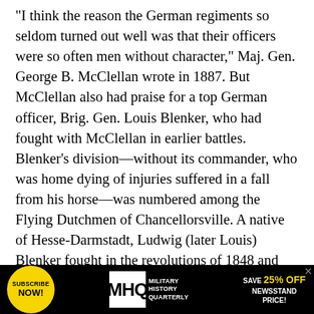“I think the reason the German regiments so seldom turned out well was that their officers were so often men without character,” Maj. Gen. George B. McClellan wrote in 1887. But McClellan also had praise for a top German officer, Brig. Gen. Louis Blenker, who had fought with McClellan in earlier battles. Blenker’s division—without its commander, who was home dying of injuries suffered in a fall from his horse—was numbered among the Flying Dutchmen of Chancellorsville. A native of Hesse-Darmstadt, Ludwig (later Louis) Blenker fought in the revolutions of 1848 and 1849 on the side of the democratic rebels, then escaped to Switzerland and, after being banished, emigrated to Rockland County, N.Y., where he became a successful farmer
[Figure (infographic): Advertisement banner for Military History Quarterly (MHQ) magazine. Black background with yellow circle containing 'SUBSCRIBE NOW!', MHQ logo in white box, magazine name 'MILITARY HISTORY QUARTERLY', and 'SAVE 25% OFF NEWSSTAND PRICE!' in yellow text.]